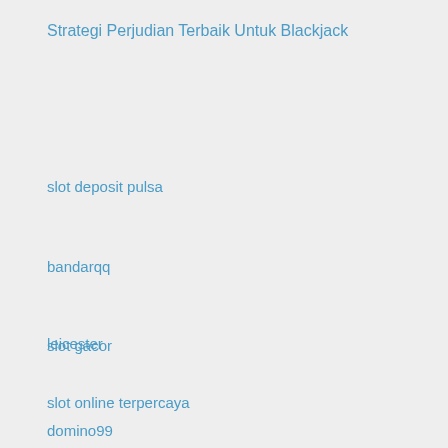Strategi Perjudian Terbaik Untuk Blackjack
slot deposit pulsa
slot gacor
bandarqq
leicester
slot online terpercaya
domino99